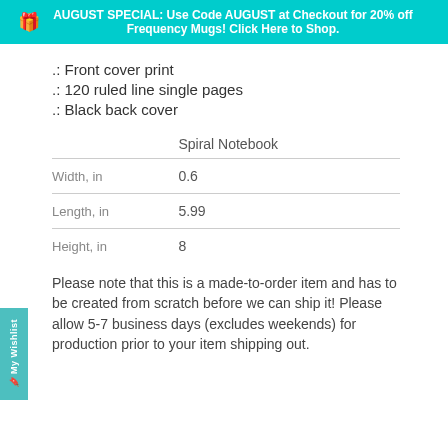AUGUST SPECIAL: Use Code AUGUST at Checkout for 20% off Frequency Mugs! Click Here to Shop.
.: Front cover print
.: 120 ruled line single pages
.: Black back cover
|  | Spiral Notebook |
| --- | --- |
| Width, in | 0.6 |
| Length, in | 5.99 |
| Height, in | 8 |
Please note that this is a made-to-order item and has to be created from scratch before we can ship it! Please allow 5-7 business days (excludes weekends) for production prior to your item shipping out.